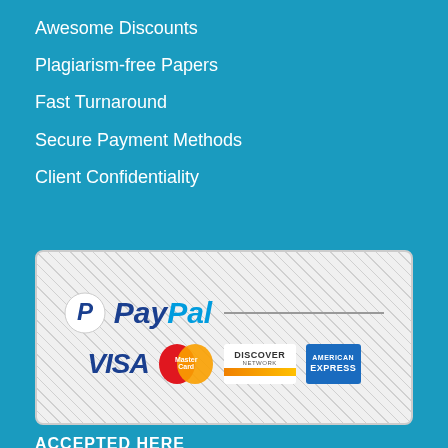Awesome Discounts
Plagiarism-free Papers
Fast Turnaround
Secure Payment Methods
Client Confidentiality
[Figure (logo): Payment methods banner showing PayPal, Visa, MasterCard, Discover, and American Express logos on a checkered background with rounded border]
ACCEPTED HERE